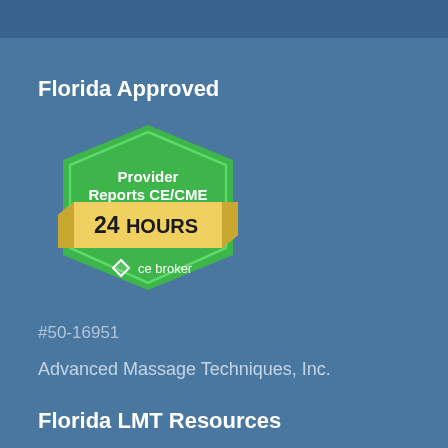Florida Approved
[Figure (logo): CE Broker badge: green hexagon shape with text 'Provider Reports CE/CME' and a yellow banner reading '24 HOURS', with CE Broker logo at bottom]
#50-16951
Advanced Massage Techniques, Inc.
Florida LMT Resources
CE Courses